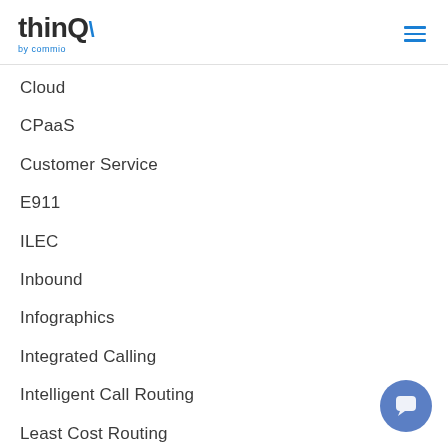thinQ by commio
Cloud
CPaaS
Customer Service
E911
ILEC
Inbound
Infographics
Integrated Calling
Intelligent Call Routing
Least Cost Routing
Location Routing Number
Machine Learning